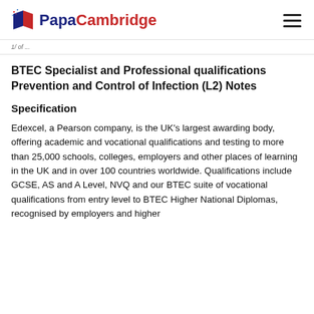PapaCambridge
...
BTEC Specialist and Professional qualifications Prevention and Control of Infection (L2) Notes
Specification
Edexcel, a Pearson company, is the UK’s largest awarding body, offering academic and vocational qualifications and testing to more than 25,000 schools, colleges, employers and other places of learning in the UK and in over 100 countries worldwide. Qualifications include GCSE, AS and A Level, NVQ and our BTEC suite of vocational qualifications from entry level to BTEC Higher National Diplomas, recognised by employers and higher